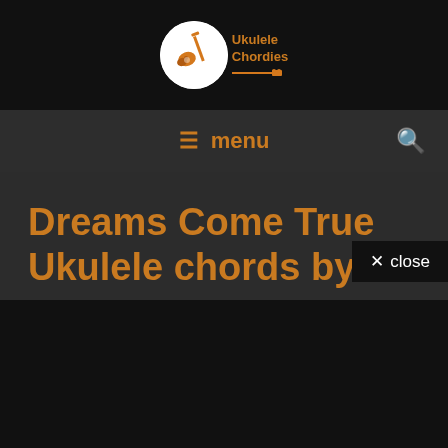Ukulele Chordies
≡ menu 🔍
Dreams Come True Ukulele chords by aespa
Leave a Comment / Korean
✕ close